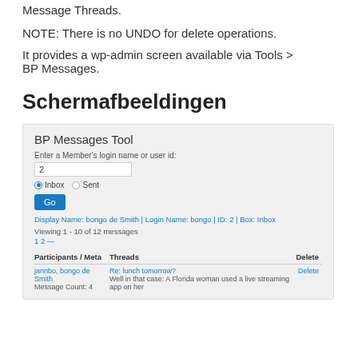Message Threads.
NOTE: There is no UNDO for delete operations.
It provides a wp-admin screen available via Tools > BP Messages.
Schermafbeeldingen
[Figure (screenshot): Screenshot of BP Messages Tool admin interface showing a form with a member login name/user id input, Inbox/Sent radio buttons, a Go button, display info, message count, pagination, and a table with Participants/Meta, Threads, and Delete columns. Shows one message thread from jannbo and bongo de Smith with subject 'Re: lunch tomorrow?'.]